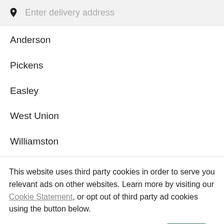[Figure (screenshot): Search bar with location pin icon and placeholder text 'Enter delivery address' on a light gray background]
Anderson
Pickens
Easley
West Union
Williamston
This website uses third party cookies in order to serve you relevant ads on other websites. Learn more by visiting our Cookie Statement, or opt out of third party ad cookies using the button below.
OPT OUT
GOT IT